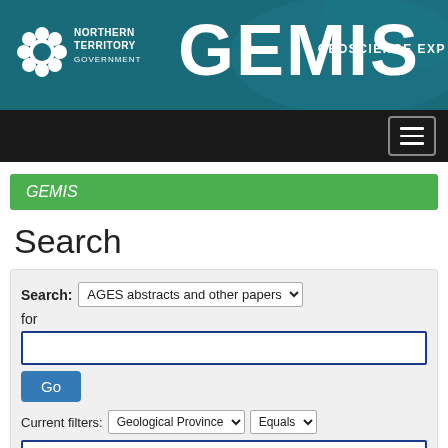[Figure (logo): GEMIS - Geoscience Explorer header banner with Northern Territory Government logo, teal background]
[Figure (screenshot): Dark navigation bar with hamburger menu icon]
GEMIS
Search
Search: AGES abstracts and other papers
for
Go
Current filters: Geological Province  Equals
Arunta Region
X
Geological Province  Equals